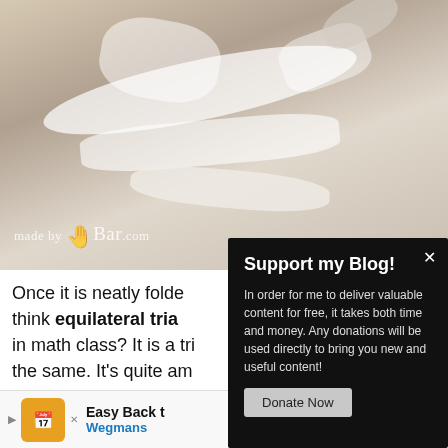[Figure (photo): Photo of white fabric or paper folded on a light-colored surface, with a watermark logo 'made by bar .com' in the lower left corner.]
Once it is neatly folded think equilateral tria in math class? It is a tri the same. It's quite am forth to stack the trian practice; folding paper
[Figure (other): Dark modal popup overlay with title 'Support my Blog!' and text 'In order for me to deliver valuable content for free, it takes both time and money. Any donations will be used directly to bring you new and useful content!' with a 'Donate Now' button and a close (×) button.]
[Figure (other): Advertisement banner for 'Easy Back' from Wegmans with orange logo icon, play button, and close X.]